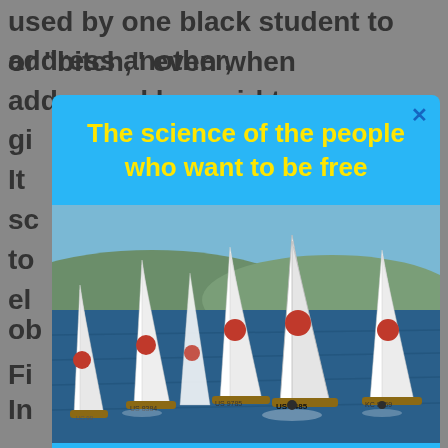used by one black student to address another,
or “bitch,” even when addressed by a girl to a
gi
It
sc
to
el
ob
Fi
In
The science of the people who want to be free
[Figure (photo): Multiple sailboats with white sails and red circle markings racing on open water with hills in the background. Visible sail numbers include US 7485, US 8384, US 9785, KC 8359.]
To save our FREEDOM, we must WIN the